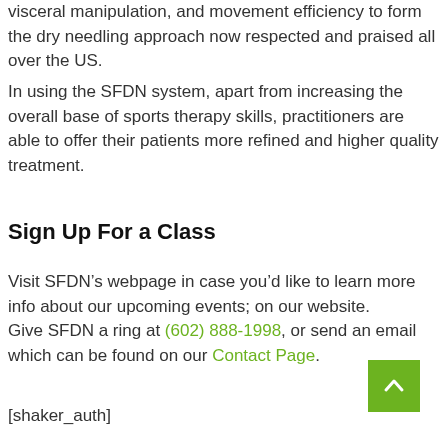visceral manipulation, and movement efficiency to form the dry needling approach now respected and praised all over the US.
In using the SFDN system, apart from increasing the overall base of sports therapy skills, practitioners are able to offer their patients more refined and higher quality treatment.
Sign Up For a Class
Visit SFDN’s webpage in case you’d like to learn more info about our upcoming events; on our website.
Give SFDN a ring at (602) 888-1998, or send an email which can be found on our Contact Page.
[shaker_auth]